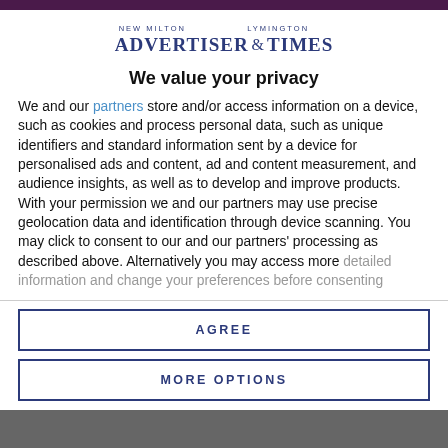[Figure (logo): New Milton Advertiser & Lymington Times newspaper logo in dark blue serif font]
We value your privacy
We and our partners store and/or access information on a device, such as cookies and process personal data, such as unique identifiers and standard information sent by a device for personalised ads and content, ad and content measurement, and audience insights, as well as to develop and improve products. With your permission we and our partners may use precise geolocation data and identification through device scanning. You may click to consent to our and our partners' processing as described above. Alternatively you may access more detailed information and change your preferences before consenting
AGREE
MORE OPTIONS